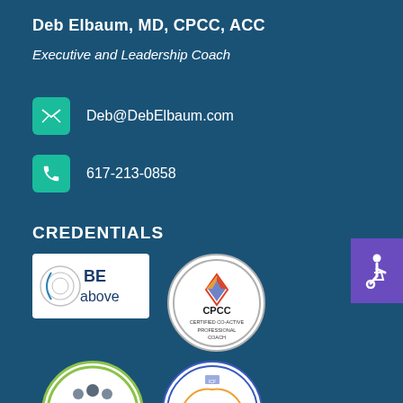Deb Elbaum, MD, CPCC, ACC
Executive and Leadership Coach
Deb@DebElbaum.com
617-213-0858
CREDENTIALS
[Figure (logo): BE above logo - white rectangle with swirl design and text 'BE above']
[Figure (logo): CPCC Certified Co-Active Professional Coach circular badge]
[Figure (logo): Diversity Equity and Inclusion in the Workplace circular green badge]
[Figure (logo): ICF PCC Professional Certified Coach circular badge]
[Figure (logo): iEQ9 Integrative Enneagram badge on dark background]